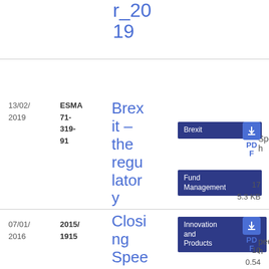r_2019
13/02/2019
ESMA 71-319-91
Brexit – the regulatory challenges
Brexit
Speech
Fund Management
MiFID - Secondary Markets
Post Trading
Speeches
Supervisory convergence
PDF
175.3 KB
07/01/2016
2015/1915
Closing Speech by V
Innovation and Products
Speech
PDF
100.54 KB